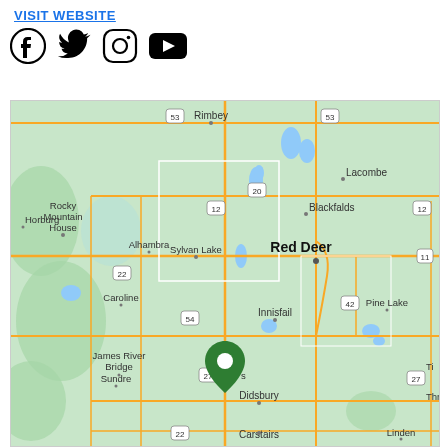VISIT WEBSITE
[Figure (illustration): Social media icons: Facebook, Twitter, Instagram, YouTube]
[Figure (map): Google Maps showing Red Deer, Alberta area with green location pin, surrounding towns: Rimbey, Lacombe, Blackfalds, Red Deer, Sylvan Lake, Alhambra, Rocky Mountain House, Horburg, Caroline, Innisfail, James River Bridge, Sundre, Didsbury, Carstairs, Pine Lake, Linden, Three Hills area. Highway numbers: 53, 20, 12, 11, 22, 54, 42, 27, 22.]